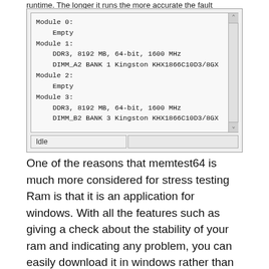runtime. The longer it runs the more accurate the fault detection.
[Figure (screenshot): Screenshot of a memory module listing showing Module 0: Empty, Module 1: DDR3 8192 MB 64-bit 1600 MHz DIMM_A2 BANK 1 Kingston KHX1866C10D3/8GX, Module 2: Empty, Module 3: DDR3 8192 MB 64-bit 1600 MHz DIMM_B2 BANK 3 Kingston KHX1866C10D3/8GX, with a status bar showing Idle.]
One of the reasons that memtest64 is much more considered for stress testing Ram is that it is an application for windows. With all the features such as giving a check about the stability of your ram and indicating any problem, you can easily download it in windows rather than using a USB.